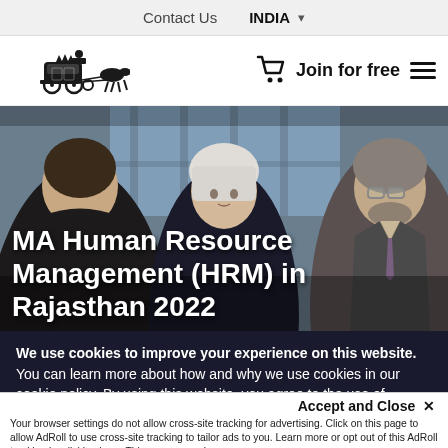Contact Us   INDIA ▾
[Figure (logo): Carriage and horses logo icon (Hotcourses India brand)]
MA Human Resource Management (HRM) in Rajasthan 2022
[Figure (photo): Three people in a meeting room: woman with dark hair seen from behind (left), white-haired woman in center looking serious, older man with glasses and beard on right wearing a suit]
We use cookies to improve your experience on this website. You can learn more about how and why we use cookies in our cookie policy. By using this website, you agree to the use of cookies.
Accept and Close ✕
Your browser settings do not allow cross-site tracking for advertising. Click on this page to allow AdRoll to use cross-site tracking to tailor ads to you. Learn more or opt out of this AdRoll tracking by clicking here. This message only appears once.